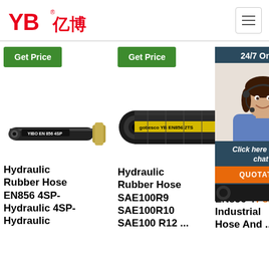[Figure (logo): YB 亿博 company logo in red text with registered mark]
[Figure (other): Hamburger menu icon button]
Get Price
Get Price
24/7 Online
[Figure (photo): Black hydraulic rubber hose EN856 4SP cross-section and side view]
[Figure (photo): Large black and yellow hydraulic rubber hose SAE100R9 SAE100R10 SAE100 R12]
[Figure (photo): Customer service agent woman with headset smiling]
Click here for free chat !
QUOTATION
Hydraulic Rubber Hose EN856 4SP- Hydraulic 4SP- Hydraulic
Hydraulic Rubber Hose SAE100R9 SAE100R10 SAE100 R12 ...
Hydraulic Rubber Hose EN856 4SP- Industrial Hose And ...